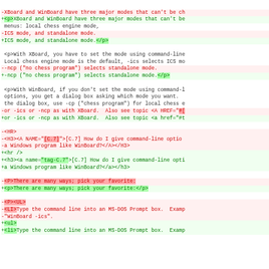Diff/patch view of HTML source code showing changes between two versions of XBoard/WinBoard documentation HTML
-XBoard and WinBoard have three major modes that can't be ch
+<p>XBoard and WinBoard have three major modes that can't be menus: local chess engine mode,
-ICS mode, and standalone mode.
+ICS mode, and standalone mode.</p>

 <p>With XBoard, you have to set the mode using command-line Local chess engine mode is the default, -ics selects ICS mo
--ncp ("no chess program") selects standalone mode.
+-ncp ("no chess program") selects standalone mode.</p>

 <p>With WinBoard, if you don't set the mode using command-l options, you get a dialog box asking which mode you want. the dialog box, use -cp ("chess program") for local chess e
-or -ics or -ncp as with XBoard.  Also see topic <A HREF="#[
+or -ics or -ncp as with XBoard.  Also see topic <a href="#t

-<HR>
-<H3><A NAME="[C.7]">>[C.7] How do I give command-line optio
-a Windows program like WinBoard?</A></H3>
+<hr />
+<h3><a name="tag-C.7">[C.7] How do I give command-line opti
+a Windows program like WinBoard?</a></h3>

-<P>There are many ways; pick your favorite:
+<p>There are many ways; pick your favorite:</p>

-<P><UL>
-<LI>Type the command line into an MS-DOS Prompt box.  Examp
-"WinBoard -ics".
+<ul>
+<li>Type the command line into an MS-DOS Prompt box.  Examp